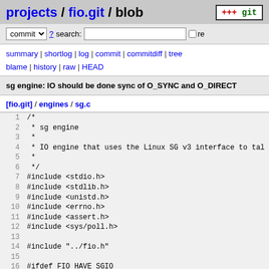projects / fio.git / blob
commit ? search: re
summary | shortlog | log | commit | commitdiff | tree
blame | history | raw | HEAD
sg engine: IO should be done sync of O_SYNC and O_DIRECT
[fio.git] / engines / sg.c
1  /*
2   * sg engine
3   *
4   * IO engine that uses the Linux SG v3 interface to ta
5   *
6   */
7  #include <stdio.h>
8  #include <stdlib.h>
9  #include <unistd.h>
10 #include <errno.h>
11 #include <assert.h>
12 #include <sys/poll.h>
13
14 #include "../fio.h"
15
16 #ifdef FIO_HAVE_SGIO
17
18 struct sgio_cmd {
19         unsigned char cdb[10];